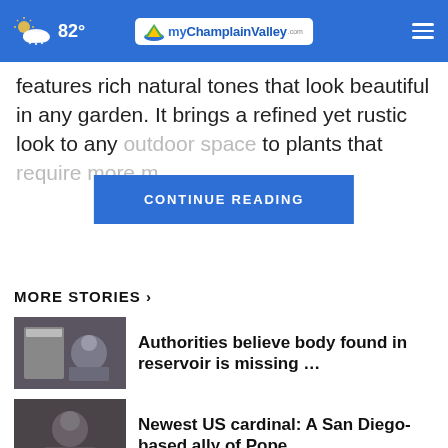82° myChamplainValley.com
features rich natural tones that look beautiful in any garden. It brings a refined yet rustic look to any outdoor space to plants that require more m...
CONTINUE READING
MORE STORIES ›
Authorities believe body found in reservoir is missing …
Newest US cardinal: A San Diego-based ally of Pope …
Escaped bull runs rampant through Israeli bank after …